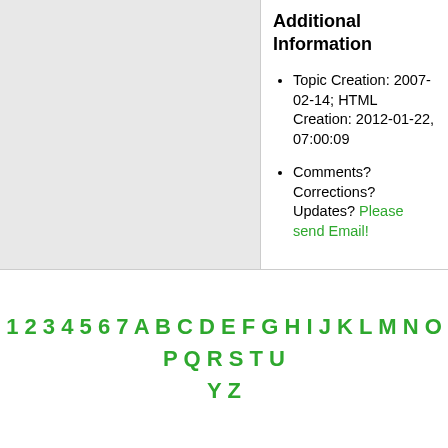Additional Information
Topic Creation: 2007-02-14; HTML Creation: 2012-01-22, 07:00:09
Comments? Corrections? Updates? Please send Email!
1 2 3 4 5 6 7 A B C D E F G H I J K L M N O P Q R S T U Y Z